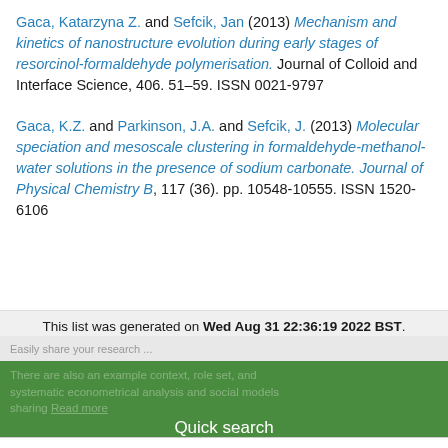Gaca, Katarzyna Z. and Sefcik, Jan (2013) Mechanism and kinetics of nanostructure evolution during early stages of resorcinol-formaldehyde polymerisation. Journal of Colloid and Interface Science, 406. 51–59. ISSN 0021-9797
Gaca, K.Z. and Parkinson, J.A. and Sefcik, J. (2013) Molecular speciation and mesoscale clustering in formaldehyde-methanol-water solutions in the presence of sodium carbonate. Journal of Physical Chemistry B, 117 (36). pp. 10548-10555. ISSN 1520-6106
This list was generated on Wed Aug 31 22:36:19 2022 BST.
[Figure (screenshot): Green bar UI element with Quick search label and search input field below]